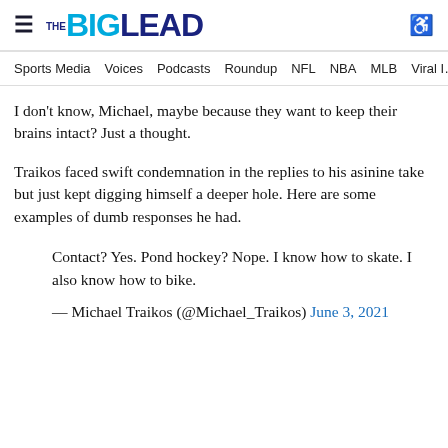THE BIG LEAD — navigation: Sports Media, Voices, Podcasts, Roundup, NFL, NBA, MLB, Viral I…
I don't know, Michael, maybe because they want to keep their brains intact? Just a thought.
Traikos faced swift condemnation in the replies to his asinine take but just kept digging himself a deeper hole. Here are some examples of dumb responses he had.
Contact? Yes. Pond hockey? Nope. I know how to skate. I also know how to bike.
— Michael Traikos (@Michael_Traikos) June 3, 2021